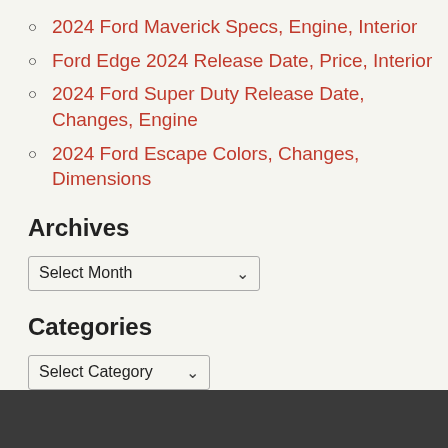2024 Ford Maverick Specs, Engine, Interior
Ford Edge 2024 Release Date, Price, Interior
2024 Ford Super Duty Release Date, Changes, Engine
2024 Ford Escape Colors, Changes, Dimensions
Archives
Select Month (dropdown)
Categories
Select Category (dropdown)